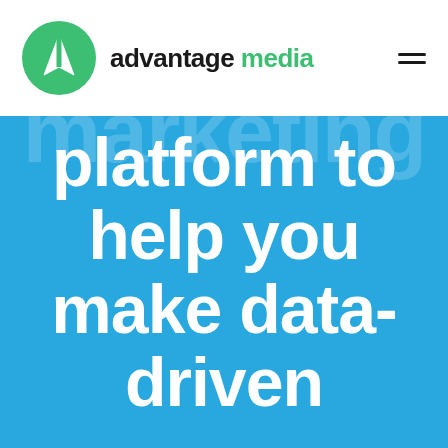advantage media
marketing platform to help you make data-driven